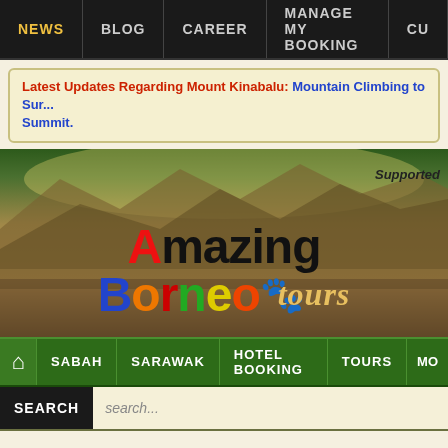NEWS | BLOG | CAREER | MANAGE MY BOOKING | CU
Latest Updates Regarding Mount Kinabalu: Mountain Climbing to Sur... Summit.
[Figure (illustration): Amazing Borneo Tours website hero banner with mountain landscape background, colorful logo text reading 'Amazing Borneo tours' with a stylized Borneo map outline graphic, and 'Supported' text in upper right.]
Home | SABAH | SARAWAK | HOTEL BOOKING | TOURS | MO
SEARCH  search...
Home | Sabah | Wiki
^ Back to Top